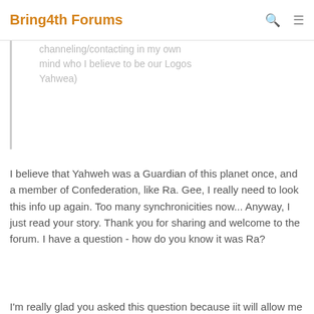Bring4th Forums
channeling/contacting in my own mind who I believe to be our Logos Yahwea)
I believe that Yahweh was a Guardian of this planet once, and a member of Confederation, like Ra. Gee, I really need to look this info up again. Too many synchronicities now... Anyway, I just read your story. Thank you for sharing and welcome to the forum. I have a question - how do you know it was Ra?
I'm really glad you asked this question because iit will allow me to elaborate on my recently expanded understandings of my "contact". I now understand That "Ra"